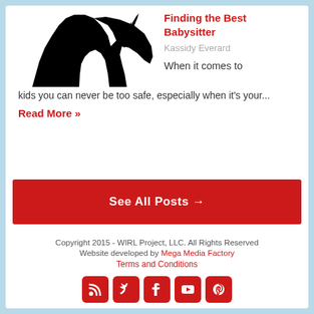[Figure (photo): Silhouette of a person (child or adult) with arm raised against white background]
Finding the Best Babysitter
Kassidy Everard
When it comes to kids you can never be too safe, especially when it's your...
Read More »
See All Posts →
Copyright 2015 - WIRL Project, LLC. All Rights Reserved
Website developed by Mega Media Factory
Terms and Conditions